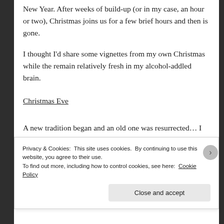New Year. After weeks of build-up (or in my case, an hour or two), Christmas joins us for a few brief hours and then is gone.
I thought I'd share some vignettes from my own Christmas while the remain relatively fresh in my alcohol-addled brain.
Christmas Eve
A new tradition began and an old one was resurrected… I think last Sunday was my first Christmas Eve at a gig – and what a gig! It was a jazz session at the Talking Heads with a Christmas theme, produced by the Fathers of Christmas (a
Privacy & Cookies: This site uses cookies. By continuing to use this website, you agree to their use.
To find out more, including how to control cookies, see here: Cookie Policy
Close and accept